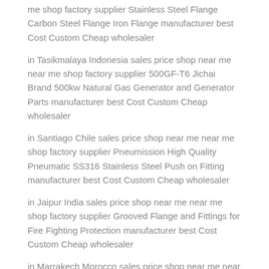me shop factory supplier Stainless Steel Flange Carbon Steel Flange Iron Flange manufacturer best Cost Custom Cheap wholesaler
in Tasikmalaya Indonesia sales price shop near me near me shop factory supplier 500GF-T6 Jichai Brand 500kw Natural Gas Generator and Generator Parts manufacturer best Cost Custom Cheap wholesaler
in Santiago Chile sales price shop near me near me shop factory supplier Pneumission High Quality Pneumatic SS316 Stainless Steel Push on Fitting manufacturer best Cost Custom Cheap wholesaler
in Jaipur India sales price shop near me near me shop factory supplier Grooved Flange and Fittings for Fire Fighting Protection manufacturer best Cost Custom Cheap wholesaler
in Marrakech Morocco sales price shop near me near me shop factory supplier 2b Ba Surface 304 201 316L Stainless Steel Strip Coil Cold Rolled manufacturer